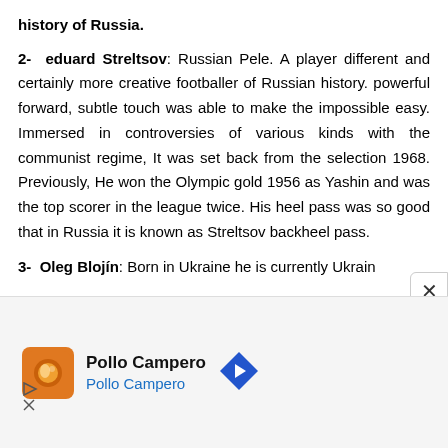history of Russia.
2- eduard Streltsov: Russian Pele. A player different and certainly more creative footballer of Russian history. powerful forward, subtle touch was able to make the impossible easy. Immersed in controversies of various kinds with the communist regime, It was set back from the selection 1968. Previously, He won the Olympic gold 1956 as Yashin and was the top scorer in the league twice. His heel pass was so good that in Russia it is known as Streltsov backheel pass.
3- Oleg Blojín: Born in Ukraine he is currently Ukrain
[Figure (other): Advertisement banner for Pollo Campero with logo icon, brand name in bold, subtitle in blue, and a blue diamond navigation arrow icon. Below the ad are play and close (X) control icons.]